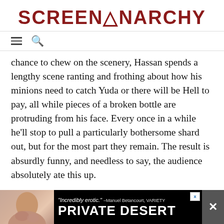SCREENANARCHY
chance to chew on the scenery, Hassan spends a lengthy scene ranting and frothing about how his minions need to catch Yuda or there will be Hell to pay, all while pieces of a broken bottle are protruding from his face. Every once in a while he’ll stop to pull a particularly bothersome shard out, but for the most part they remain. The result is absurdly funny, and needless to say, the audience absolutely ate this up.
The film does jerk along a little awkwardly until our hero gets to Jakarta. While it’s important to establish the culture that Yuda is coming from and how important it is to him, this could have been easily conveyed to us in half the time. As it stands, we get a good 30-40 minutes of mayhem and madness before Yuda gets there,
[Figure (screenshot): Advertisement banner for 'Private Desert' at bottom of page. Shows quote '"Incredibly erotic." -Manuel Betancourt, VARIETY' and large text 'PRIVATE DESERT' with a photo of a person and a close X button.]